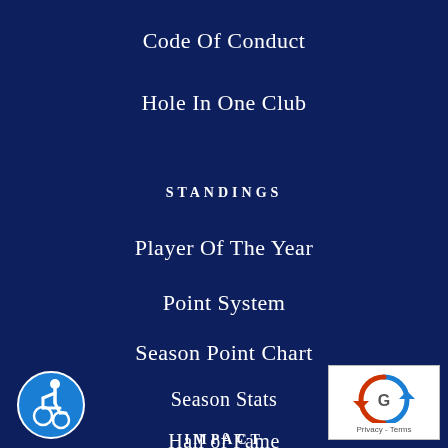Code Of Conduct
Hole In One Club
STANDINGS
Player Of The Year
Point System
Season Point Chart
Season Stats
Hall of Fame
[Figure (logo): Accessibility icon - blue circle with wheelchair user symbol in white]
[Figure (logo): Privacy/Terms logo with recycling-style arrows in blue, text reads Privacy - Terms]
IMPACT